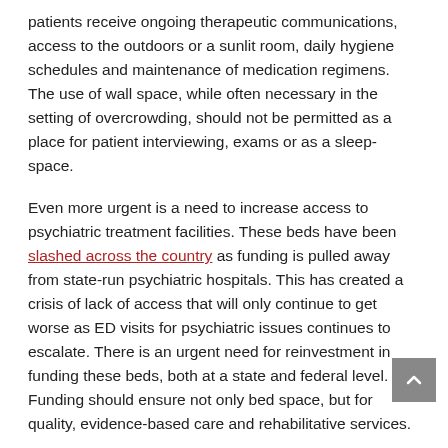patients receive ongoing therapeutic communications, access to the outdoors or a sunlit room, daily hygiene schedules and maintenance of medication regimens. The use of wall space, while often necessary in the setting of overcrowding, should not be permitted as a place for patient interviewing, exams or as a sleep-space.
Even more urgent is a need to increase access to psychiatric treatment facilities. These beds have been slashed across the country as funding is pulled away from state-run psychiatric hospitals. This has created a crisis of lack of access that will only continue to get worse as ED visits for psychiatric issues continues to escalate. There is an urgent need for reinvestment in funding these beds, both at a state and federal level. Funding should ensure not only bed space, but for quality, evidence-based care and rehabilitative services.
Changing the Paradigm